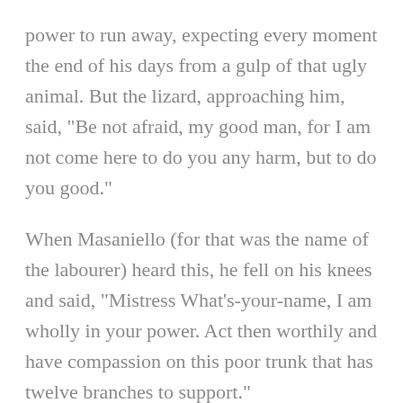power to run away, expecting every moment the end of his days from a gulp of that ugly animal. But the lizard, approaching him, said, "Be not afraid, my good man, for I am not come here to do you any harm, but to do you good."

When Masaniello (for that was the name of the labourer) heard this, he fell on his knees and said, "Mistress What's-your-name, I am wholly in your power. Act then worthily and have compassion on this poor trunk that has twelve branches to support."

"It is on this very account," said the lizard, "that I am disposed to serve you; so bring me, to-morrow morning the youngest of your